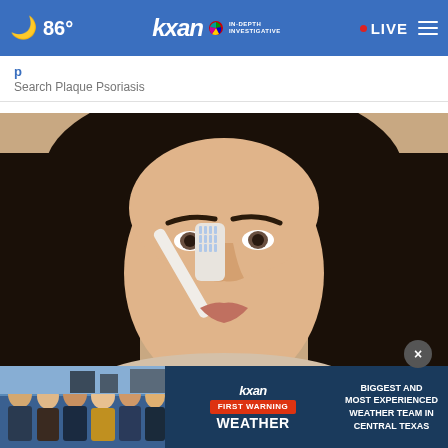86° KXAN IN-DEPTH INVESTIGATIVE • LIVE
Search Plaque Psoriasis
[Figure (photo): Woman with dark hair brushing the side of her nose with a white toothbrush, close-up beauty/skincare photo]
Do This Immediately if You Have Moles or Skin Tags
SmartLife Reports
[Figure (infographic): KXAN ad banner: First Warning Weather - Biggest and Most Experienced Weather Team in Central Texas, with photo of news team]